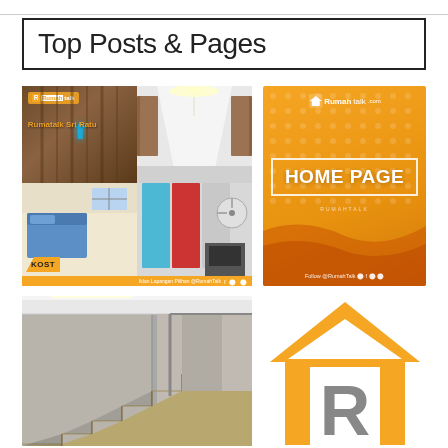Top Posts & Pages
[Figure (photo): Collage of kost (boarding house) room photos with orange KOST badge and Rumahtalk branding overlay]
[Figure (infographic): Orange promotional panel with HOME PAGE text in white bordered box and Rumahtalk.com logo]
[Figure (photo): Interior concrete staircase architectural photo]
[Figure (logo): Rumahtalk logo with orange roof/house icon and R letter mark in orange and grey]